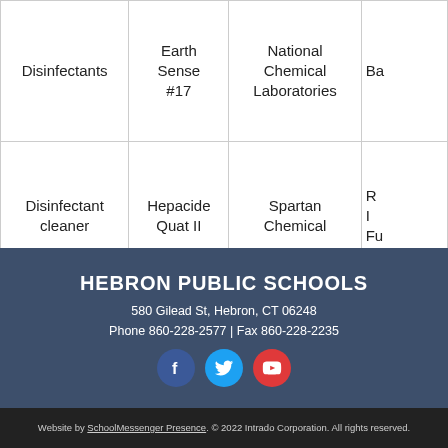| Disinfectants | Earth Sense #17 | National Chemical Laboratories | Ba… |
| Disinfectant cleaner | Hepacide Quat II | Spartan Chemical | R… I… Fu… |
HEBRON PUBLIC SCHOOLS
580 Gilead St, Hebron, CT 06248
Phone 860-228-2577 | Fax 860-228-2235
[Figure (infographic): Social media icons: Facebook (blue circle), Twitter (light blue circle), YouTube (red circle)]
Website by SchoolMessenger Presence. © 2022 Intrado Corporation. All rights reserved.